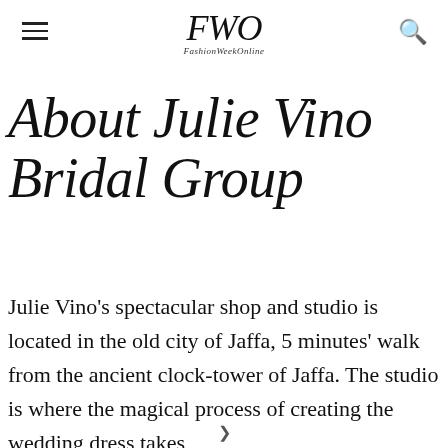FWO FashionWeekOnline
About Julie Vino Bridal Group
Julie Vino's spectacular shop and studio is located in the old city of Jaffa, 5 minutes' walk from the ancient clock-tower of Jaffa. The studio is where the magical process of creating the wedding dress takes